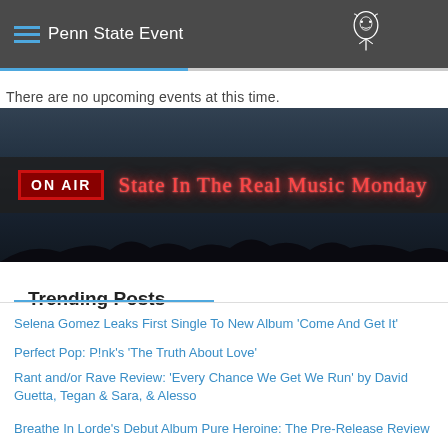Penn State Event
There are no upcoming events at this time.
[Figure (photo): ON AIR banner reading 'State In The Real Music Monday' with neon red text on dark background with crowd silhouette]
Trending Posts
Selena Gomez Leaks First Single To New Album 'Come And Get It'
Perfect Pop: P!nk's 'The Truth About Love'
Rant and/or Rave Review: 'Every Chance We Get We Run' by David Guetta, Tegan & Sara, & Alesso
Breathe In Lorde's Debut Album Pure Heroine: The Pre-Release Review